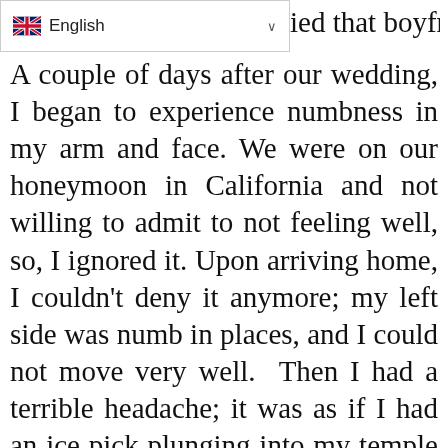English
A couple of days after our wedding, I began to experience numbness in my arm and face. We were on our honeymoon in California and not willing to admit to not feeling well, so, I ignored it. Upon arriving home, I couldn't deny it anymore; my left side was numb in places, and I could not move very well.  Then I had a terrible headache; it was as if I had an ice pick plunging into my temple for hours.  I called a neurologist explained my symptoms, and he recommended I get immediately to the emergency room; it was June 16, 1990- Father's Day.  It